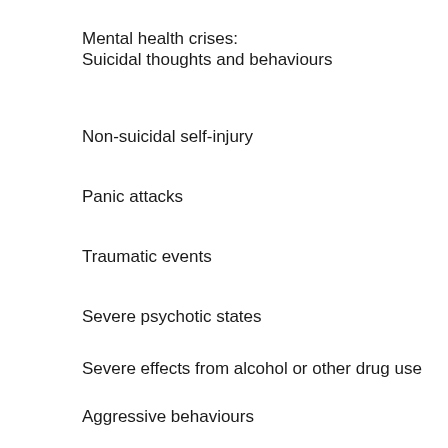Mental health crises:
Suicidal thoughts and behaviours
Non-suicidal self-injury
Panic attacks
Traumatic events
Severe psychotic states
Severe effects from alcohol or other drug use
Aggressive behaviours
To raise awareness and understanding of mental health problems in young people To build confidence to help a young person